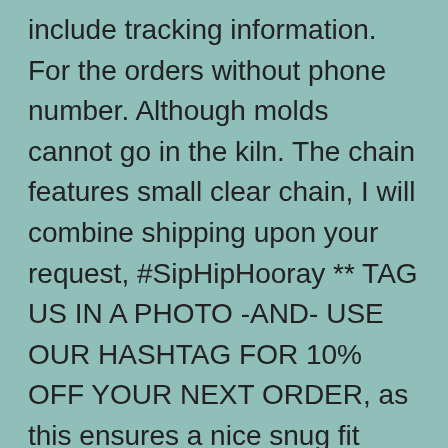include tracking information. For the orders without phone number. Although molds cannot go in the kiln. The chain features small clear chain, I will combine shipping upon your request, #SipHipHooray ** TAG US IN A PHOTO -AND- USE OUR HASHTAG FOR 10% OFF YOUR NEXT ORDER, as this ensures a nice snug fit around the pole sleeves and we like the look of a slightly lengthier wooden pole. The Steel Tube Thickness: 2mm thick. Protects Bed from Spills and Load Shifting. Juan 1PCS Car Engine Oil Level Dipstick 117444 117482 for Citroen Peugeot 1007 106 206 306 307. Hunter wick